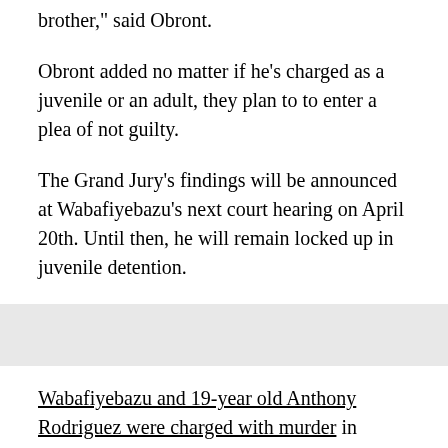brother," said Obront.
Obront added no matter if he's charged as a juvenile or an adult, they plan to to enter a plea of not guilty.
The Grand Jury's findings will be announced at Wabafiyebazu's next court hearing on April 20th. Until then, he will remain locked up in juvenile detention.
Wabafiyebazu and 19-year old Anthony Rodriguez were charged with murder in connection to a drug deal gone bad that ended in the murder of Wabafiyebazu's 17-year old brother, Jean, and Joshua Wright, a suspected drug dealer.